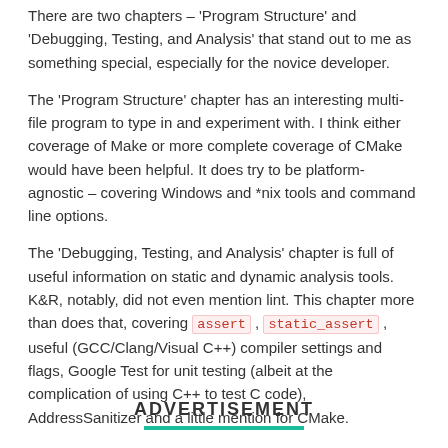There are two chapters – 'Program Structure' and 'Debugging, Testing, and Analysis' that stand out to me as something special, especially for the novice developer.
The 'Program Structure' chapter has an interesting multi-file program to type in and experiment with. I think either coverage of Make or more complete coverage of CMake would have been helpful. It does try to be platform-agnostic – covering Windows and *nix tools and command line options.
The 'Debugging, Testing, and Analysis' chapter is full of useful information on static and dynamic analysis tools. K&R, notably, did not even mention lint. This chapter more than does that, covering assert, static_assert, useful (GCC/Clang/Visual C++) compiler settings and flags, Google Test for unit testing (albeit at the complication of using C++ to test C code), AddressSanitizer and a little mention for CMake.
To conclude: A worthwhile addition to a C programmer's bookshelf.
Website robertseacord.com/wp
ADVERTISEMENT